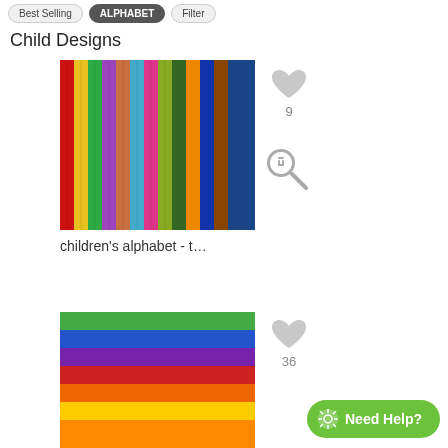Best Selling | ALPHABET | Filter
Child Designs
[Figure (photo): Colorful vertical striped fabric/textile pattern with rainbow colors including red, yellow, green, blue, purple, pink, and orange vertical stripes with decorative textures.]
children's alphabet - t...
[Figure (photo): Colorful horizontal striped fabric/textile with tie-dye style bands in green, blue, purple, red, orange, and yellow.]